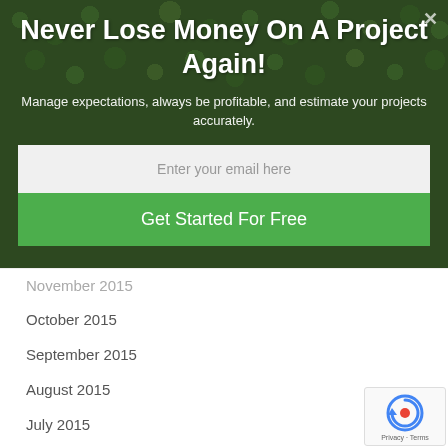[Figure (screenshot): Hero banner with green leafy plant background overlay and popup modal]
Never Lose Money On A Project Again!
Manage expectations, always be profitable, and estimate your projects accurately.
Enter your email here
Get Started For Free
November 2015
October 2015
September 2015
August 2015
July 2015
June 2015
May 2015
April 2015